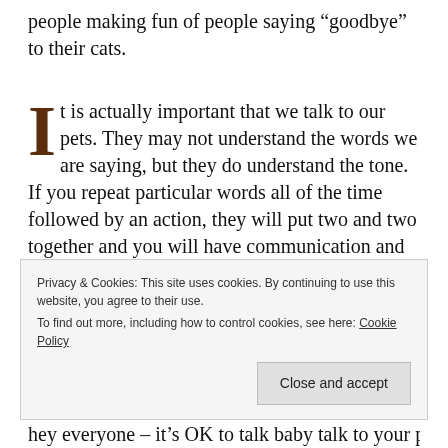people making fun of people saying “goodbye” to their cats.
It is actually important that we talk to our pets. They may not understand the words we are saying, but they do understand the tone. If you repeat particular words all of the time followed by an action, they will put two and two together and you will have communication and routines established with your pets.
Why is communication important? Well do
Privacy & Cookies: This site uses cookies. By continuing to use this website, you agree to their use. To find out more, including how to control cookies, see here: Cookie Policy
hey everyone – it’s OK to talk baby talk to your pet!